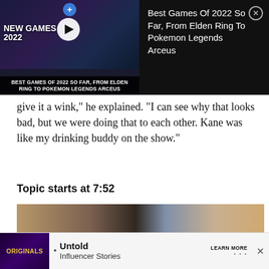[Figure (screenshot): Video ad banner for 'Best Games Of 2022 So Far, From Elden Ring To Pokemon Legends Arceus' with dark background, game character artwork, play button, and text overlay]
give it a wink," he explained. "I can see why that looks bad, but we were doing that to each other. Kane was like my drinking buddy on the show."
Topic starts at 7:52
[Figure (screenshot): Video thumbnail showing a smiling young man on the left and people drinking on the right, with a play button in the center]
[Figure (screenshot): Bottom advertisement for 'Originals - Untold Influencer Stories' with a LEARN MORE button and close X button]